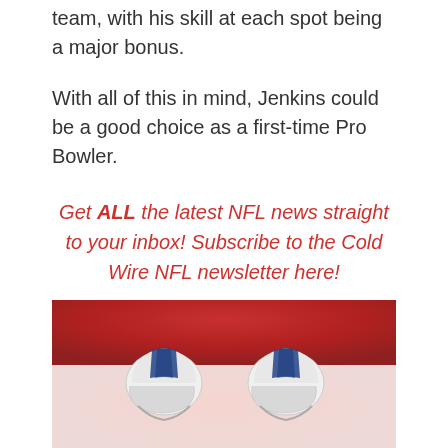team, with his skill at each spot being a major bonus.
With all of this in mind, Jenkins could be a good choice as a first-time Pro Bowler.
Get ALL the latest NFL news straight to your inbox! Subscribe to the Cold Wire NFL newsletter here!
Recent News
[Figure (photo): Two white NFL mini helmets with blue stripe against a red and pink background]